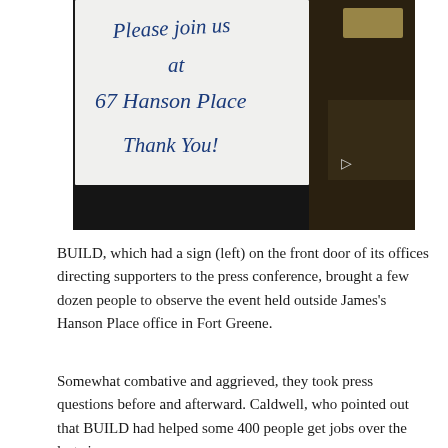[Figure (photo): A handwritten note on white paper taped to a door. The note reads 'Please join us at 67 Hanson Place Thank You!' written in blue ink. The background shows a dark room/storefront interior.]
BUILD, which had a sign (left) on the front door of its offices directing supporters to the press conference, brought a few dozen people to observe the event held outside James's Hanson Place office in Fort Greene.
Somewhat combative and aggrieved, they took press questions before and afterward. Caldwell, who pointed out that BUILD had helped some 400 people get jobs over the last six years,